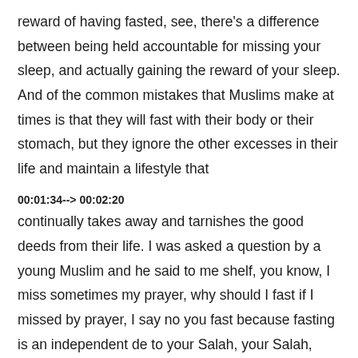reward of having fasted, see, there's a difference between being held accountable for missing your sleep, and actually gaining the reward of your sleep. And of the common mistakes that Muslims make at times is that they will fast with their body or their stomach, but they ignore the other excesses in their life and maintain a lifestyle that
00:01:34--> 00:02:20
continually takes away and tarnishes the good deeds from their life. I was asked a question by a young Muslim and he said to me shelf, you know, I miss sometimes my prayer, why should I fast if I missed by prayer, I say no you fast because fasting is an independent de to your Salah, your Salah, doesn't break your fasting if it hasn't been maintained, but it does take away of the reward of your fasting. You don't want to make two mistakes. So fasting is independent, but you need to add to it the good things that give you a greater and more